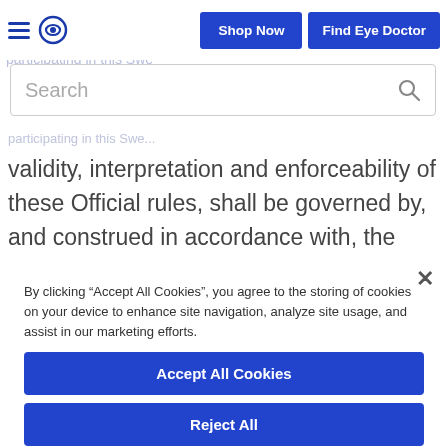Shop Now | Find Eye Doctor
validity, interpretation and enforceability of these Official rules, shall be governed by, and construed in accordance with, the laws of the State of Texas, without regard to conflicts of law
By clicking “Accept All Cookies”, you agree to the storing of cookies on your device to enhance site navigation, analyze site usage, and assist in our marketing efforts.
Accept All Cookies
Reject All
Cookies Settings